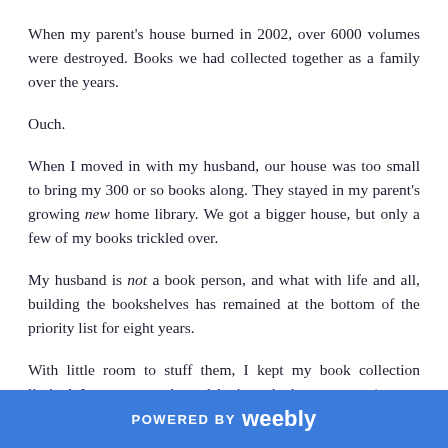When my parent's house burned in 2002, over 6000 volumes were destroyed. Books we had collected together as a family over the years.
Ouch.
When I moved in with my husband, our house was too small to bring my 300 or so books along. They stayed in my parent's growing new home library. We got a bigger house, but only a few of my books trickled over.
My husband is not a book person, and what with life and all, building the bookshelves has remained at the bottom of the priority list for eight years.
With little room to stuff them, I kept my book collection limited. I even wrote about debating whether or not to just get a Kindle. I
POWERED BY weebly